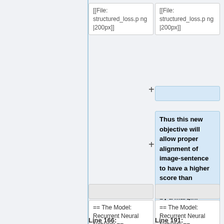[[File: structured_loss.png |200px]]
[[File: structured_loss.png |200px]]
Thus this new objective will allow proper alignment of image-sentence to have a higher score than misaligned pairs, by a margin.
== The Model: Recurrent Neural Network ==
== The Model: Recurrent Neural Network ==
Line 166:
Line 191: